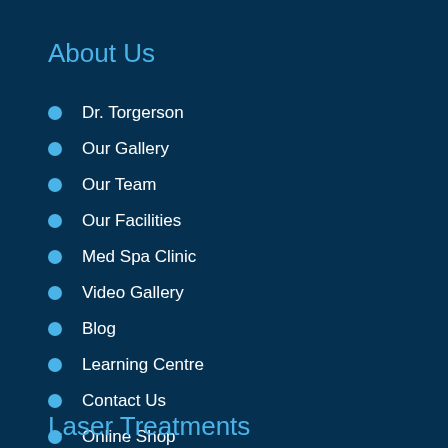About Us
Dr. Torgerson
Our Gallery
Our Team
Our Facilities
Med Spa Clinic
Video Gallery
Blog
Learning Centre
Contact Us
Online Shop
Our Promotions
Laser Treatments